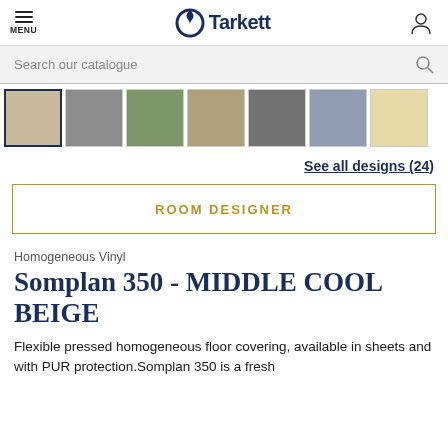Tarkett — MENU | Search our catalogue
[Figure (other): Color swatch thumbnails row: beige (selected), grey, green, tan, dark grey, blue-grey, light yellow — product color variants for Somplan 350]
See all designs (24)
ROOM DESIGNER
Homogeneous Vinyl
Somplan 350 - MIDDLE COOL BEIGE
Flexible pressed homogeneous floor covering, available in sheets and with PUR protection.Somplan 350 is a fresh